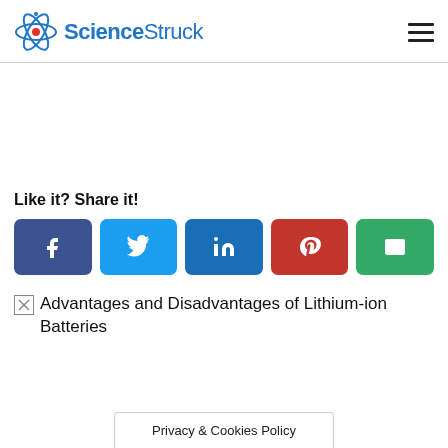ScienceStruck
Like it? Share it!
[Figure (other): Social share buttons: Facebook, Twitter, LinkedIn, Pinterest, Email]
[Figure (other): Broken image placeholder: Advantages and Disadvantages of Lithium-ion Batteries]
Privacy & Cookies Policy